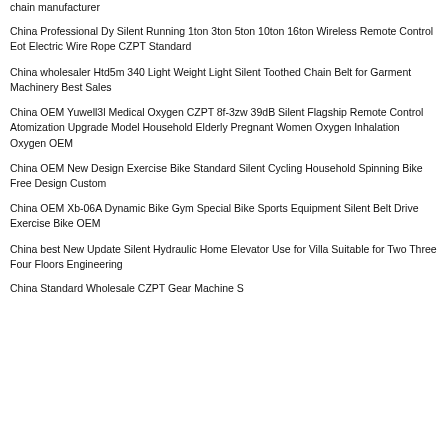chain manufacturer
China Professional Dy Silent Running 1ton 3ton 5ton 10ton 16ton Wireless Remote Control Eot Electric Wire Rope CZPT Standard
China wholesaler Htd5m 340 Light Weight Light Silent Toothed Chain Belt for Garment Machinery Best Sales
China OEM Yuwell3l Medical Oxygen CZPT 8f-3zw 39dB Silent Flagship Remote Control Atomization Upgrade Model Household Elderly Pregnant Women Oxygen Inhalation Oxygen OEM
China OEM New Design Exercise Bike Standard Silent Cycling Household Spinning Bike Free Design Custom
China OEM Xb-06A Dynamic Bike Gym Special Bike Sports Equipment Silent Belt Drive Exercise Bike OEM
China best New Update Silent Hydraulic Home Elevator Use for Villa Suitable for Two Three Four Floors Engineering
China Standard Wholesale CZPT Gear Machine S...